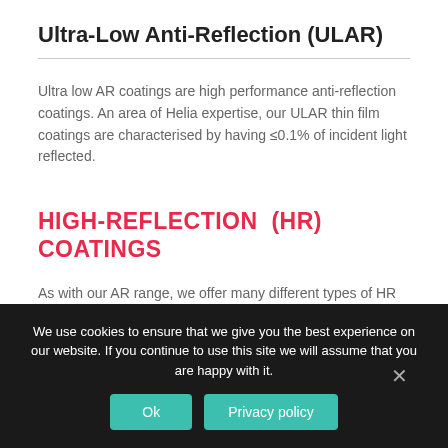Ultra-Low Anti-Reflection (ULAR)
Ultra low AR coatings are high performance anti-reflection coatings. An area of Helia expertise, our ULAR thin film coatings are characterised by having ≤0.1% of incident light reflected.
HIGH-REFLECTION (HR) COATINGS
As with our AR range, we offer many different types of HR
We use cookies to ensure that we give you the best experience on our website. If you continue to use this site we will assume that you are happy with it.